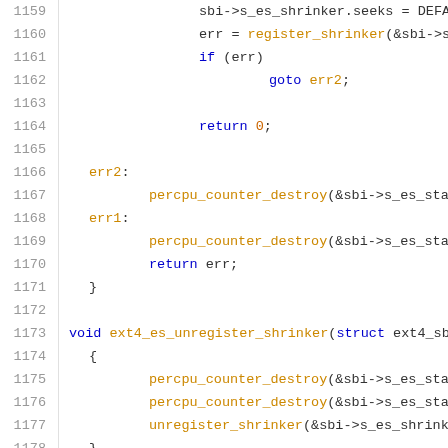Code listing lines 1159-1180, C source code for ext4 extent status shrinker functions